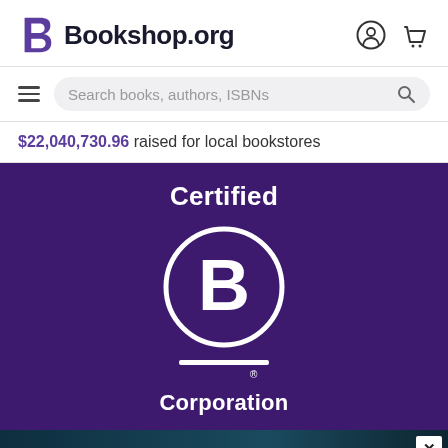[Figure (logo): Bookshop.org logo with stylized B and text, plus user and cart icons]
[Figure (screenshot): Search bar with hamburger menu icon and magnifying glass icon, placeholder text: Search books, authors, ISBNs]
$22,040,730.96 raised for local bookstores
[Figure (logo): Certified B Corporation logo on dark purple background — circle with B, horizontal line, text Certified above and Corporation below]
[Figure (photo): Advertisement banner with dark coastal night scene background. Quote: "Alice Feeney is great with TWISTS AND TURNS." — HARLAN COBEN. Close button (X) in top right corner.]